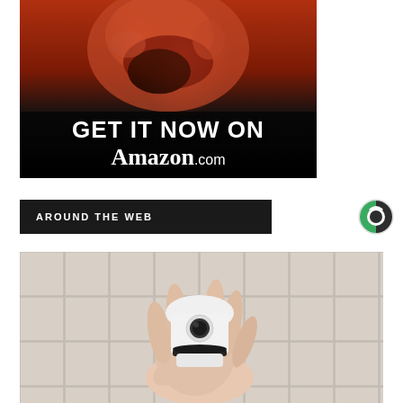[Figure (photo): Advertisement banner showing a person yelling with red lighting, overlaid with text 'GET IT NOW ON Amazon.com' on a dark background]
AROUND THE WEB
[Figure (logo): Sponsored content logo — circular logo with green and dark grey sections (Taboola or similar content recommendation logo)]
[Figure (photo): A hand holding a white dome-shaped security camera device against a beige/grey tiled background]